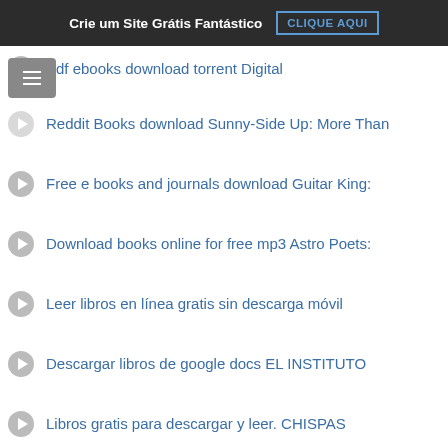Crie um Site Grátis Fantástico  CLIQUE AQUI
Pdf ebooks download torrent Digital
Reddit Books download Sunny-Side Up: More Than
Free e books and journals download Guitar King:
Download books online for free mp3 Astro Poets:
Leer libros en línea gratis sin descarga móvil
Descargar libros de google docs EL INSTITUTO
Libros gratis para descargar y leer. CHISPAS
Mejores libros descarga pdf ADENTRO TAMPOCO HAY
Livres format pdf téléchargement gratuit
Téléchargez le format pdf de Google Books en
Libros de ingles para descargar EL DÍA QUE SE
Descargar el texto completo de los libros. ENTRE
Téléchargement gratuit d'ebooks pour mobiles